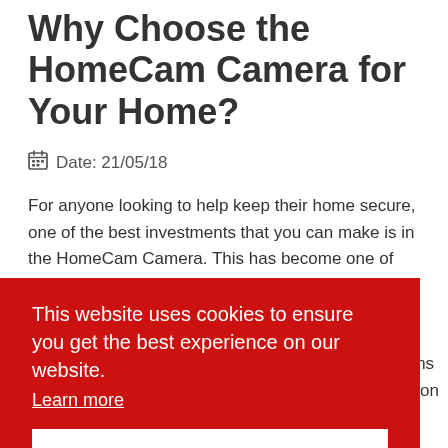Why Choose the HomeCam Camera for Your Home?
Date: 21/05/18
For anyone looking to help keep their home secure, one of the best investments that you can make is in the HomeCam Camera. This has become one of the most popular camera and ems ution
[Figure (other): Cookie consent banner overlay with red background. Text: 'This website uses cookies to ensure you get the best experience on our website.' with a 'Learn more' link and a 'Got it!' button.]
Easy access from afar: simply open the